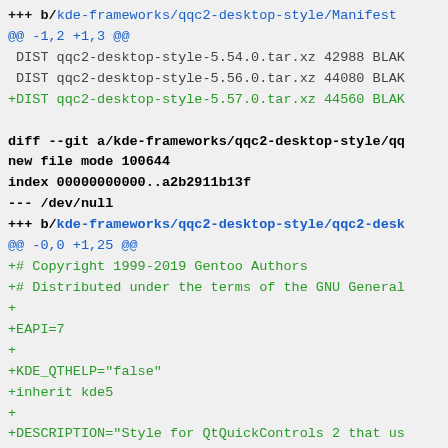+++ b/kde-frameworks/qqc2-desktop-style/Manifest
@@ -1,2 +1,3 @@
 DIST qqc2-desktop-style-5.54.0.tar.xz 42988 BLAK
 DIST qqc2-desktop-style-5.56.0.tar.xz 44080 BLAK
+DIST qqc2-desktop-style-5.57.0.tar.xz 44560 BLAK

diff --git a/kde-frameworks/qqc2-desktop-style/qq
new file mode 100644
index 00000000000..a2b2911b13f
--- /dev/null
+++ b/kde-frameworks/qqc2-desktop-style/qqc2-desk
@@ -0,0 +1,25 @@
+# Copyright 1999-2019 Gentoo Authors
+# Distributed under the terms of the GNU General
+
+EAPI=7
+
+KDE_QTHELP="false"
+inherit kde5
+
+DESCRIPTION="Style for QtQuickControls 2 that us
+KEYWORDS="~amd64 ~arm ~arm64 ~x86"